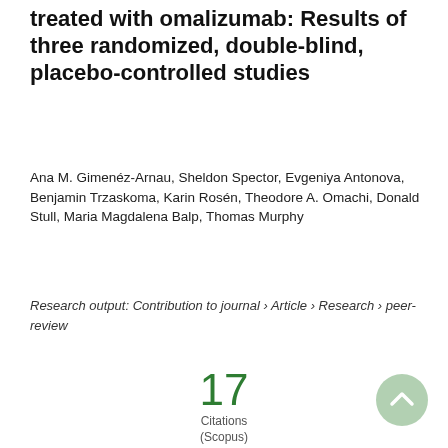treated with omalizumab: Results of three randomized, double-blind, placebo-controlled studies
Ana M. Gimenéz-Arnau, Sheldon Spector, Evgeniya Antonova, Benjamin Trzaskoma, Karin Rosén, Theodore A. Omachi, Donald Stull, Maria Magdalena Balp, Thomas Murphy
Research output: Contribution to journal › Article › Research › peer-review
17
Citations
(Scopus)